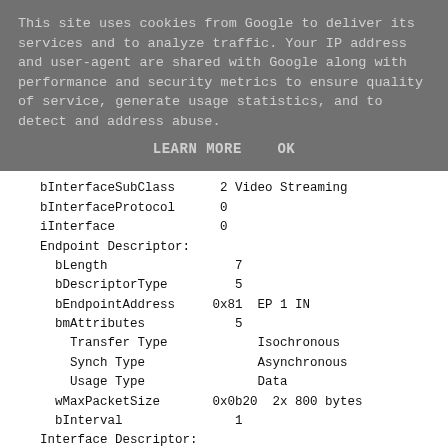This site uses cookies from Google to deliver its services and to analyze traffic. Your IP address and user-agent are shared with Google along with performance and security metrics to ensure quality of service, generate usage statistics, and to detect and address abuse.
LEARN MORE    OK
bInterfaceSubClass      2 Video Streaming
bInterfaceProtocol      0
iInterface              0
Endpoint Descriptor:
  bLength                 7
  bDescriptorType         5
  bEndpointAddress     0x81  EP 1 IN
  bmAttributes            5
    Transfer Type            Isochronous
    Synch Type               Asynchronous
    Usage Type               Data
  wMaxPacketSize       0x0b20  2x 800 bytes
  bInterval               1
Interface Descriptor:
  bLength                 9
  bDescriptorType         4
  bInterfaceNumber        1